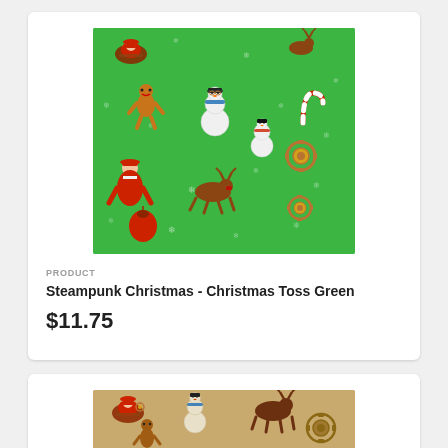[Figure (photo): Green Christmas fabric with steampunk-themed holiday characters including Santa, snowmen, reindeer, gingerbread men, and snowflakes scattered across a bright green background]
PRODUCT
Steampunk Christmas - Christmas Toss Green
$11.75
[Figure (photo): Tan/gold colored Christmas fabric with steampunk-themed holiday characters similar to the green version above, partially visible at bottom of page]